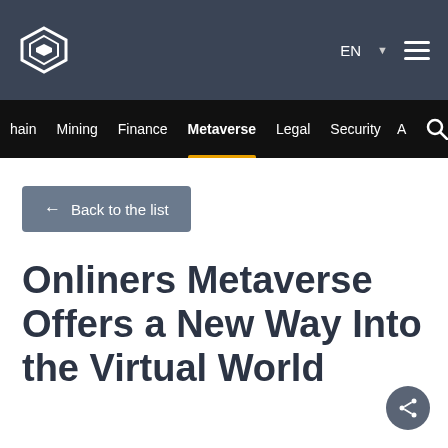EN ☰
hain Mining Finance Metaverse Legal Security A
← Back to the list
Onliners Metaverse Offers a New Way Into the Virtual World